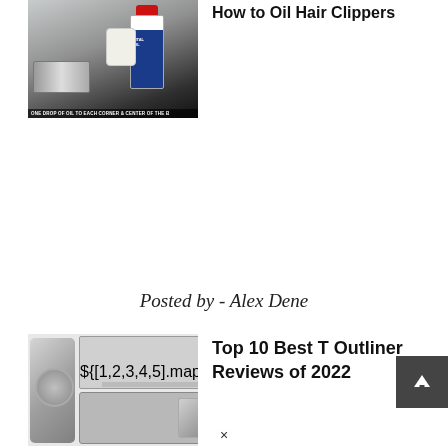[Figure (photo): Photo of someone oiling hair clippers with a bottle, text overlay reads 'ONE DROP OF OIL TO EACH CORNER & CENTER OF THE B']
How to Oil Hair Clippers
Posted by - Alex Dene
[Figure (photo): Photo showing T-outliner hair clipper body alongside a grid of various comb guard attachments]
Top 10 Best T Outliner Reviews of 2022